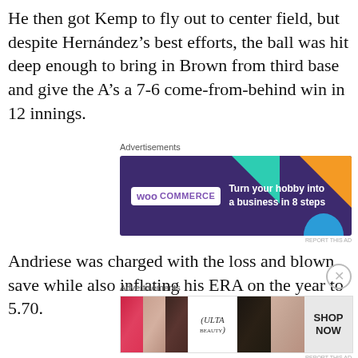He then got Kemp to fly out to center field, but despite Hernández's best efforts, the ball was hit deep enough to bring in Brown from third base and give the A's a 7-6 come-from-behind win in 12 innings.
Advertisements
[Figure (other): WooCommerce advertisement banner: 'Turn your hobby into a business in 8 steps']
Andriese was charged with the loss and blown save while also inflating his ERA on the year to 5.70.
Advertisements
[Figure (other): Ulta Beauty advertisement banner with makeup photos and 'SHOP NOW' button]